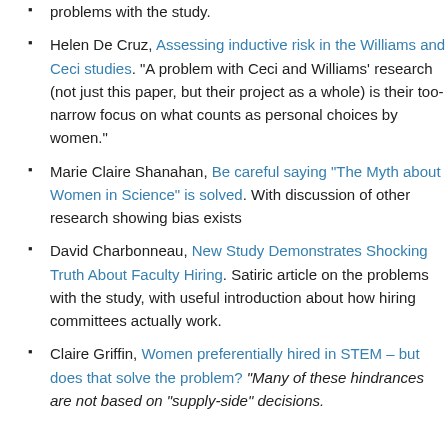problems with the study.
Helen De Cruz, Assessing inductive risk in the Williams and Ceci studies. “A problem with Ceci and Williams’ research (not just this paper, but their project as a whole) is their too-narrow focus on what counts as personal choices by women.”
Marie Claire Shanahan, Be careful saying “The Myth about Women in Science” is solved. With discussion of other research showing bias exists
David Charbonneau, New Study Demonstrates Shocking Truth About Faculty Hiring. Satiric article on the problems with the study, with useful introduction about how hiring committees actually work.
Claire Griffin, Women preferentially hired in STEM – but does that solve the problem? “Many of these hindrances are not based on “supply-side” decisions.